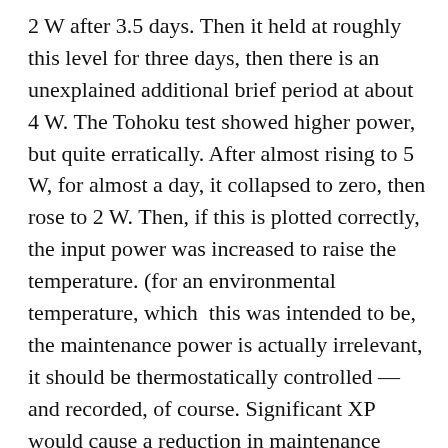2 W after 3.5 days. Then it held at roughly this level for three days, then there is an unexplained additional brief period at about 4 W. The Tohoku test showed higher power, but quite erratically. After almost rising to 5 W, for almost a day, it collapsed to zero, then rose to 2 W. Then, if this is plotted correctly, the input power was increased to raise the temperature. (for an environmental temperature, which  this was intended to be, the maintenance power is actually irrelevant, it should be thermostatically controlled — and recorded, of course. Significant XP would cause a reduction in maintenance power, as a check. But if they used constant maintenance power, then we would want to know the environment